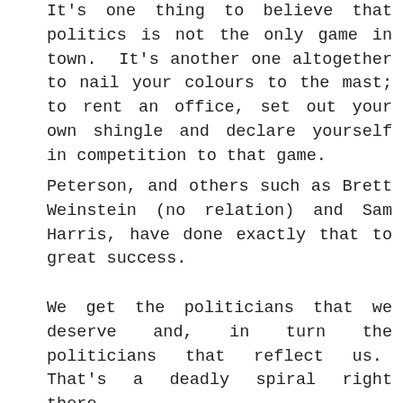It's one thing to believe that politics is not the only game in town.  It's another one altogether to nail your colours to the mast; to rent an office, set out your own shingle and declare yourself in competition to that game.
Peterson, and others such as Brett Weinstein (no relation) and Sam Harris, have done exactly that to great success.
We get the politicians that we deserve and, in turn the politicians that reflect us.  That's a deadly spiral right there.
Perhaps if, as Peterson says, we refuse to politicise everything; perhaps if we say “No!” by dedicating ourselves instead to psychological, philosophical and